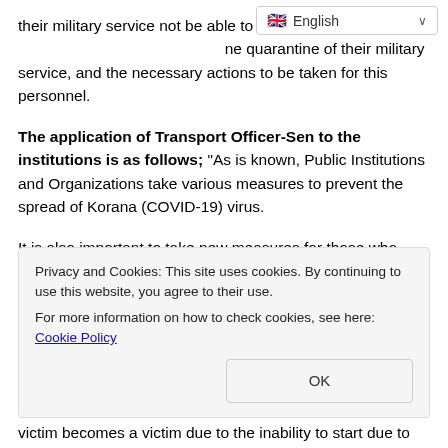their military service not be able to [ne] quarantine of their military service, and the necessary actions to be taken for this personnel.
The application of Transport Officer-Sen to the institutions is as follows; “As is known, Public Institutions and Organizations take various measures to prevent the spread of Korana (COVID-19) virus.
It is also important to take new measures for those who want to start their duties after performing this duty from the personnel who are deemed to have unpaid leave to perform their military service while working in the Institutions and Organizations affiliated with our Transportation Service
Privacy and Cookies: This site uses cookies. By continuing to use this website, you agree to their use.
For more information on how to check cookies, see here: Cookie Policy
victim becomes a victim due to the inability to start due to